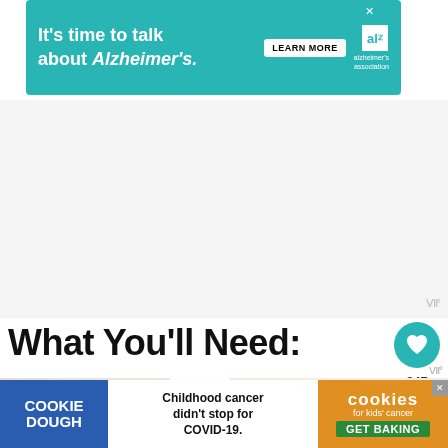[Figure (illustration): Alzheimer's Association advertisement banner with teal background. Text reads "It's time to talk about Alzheimer's." with a LEARN MORE button and the Alzheimer's Association logo.]
[Figure (illustration): Large blank/gray advertisement block with a watermark symbol in the bottom right corner.]
What You'll Need:
[Figure (photo): Photo showing crafting supplies on a marble surface including colorful fabric swatches, a bowl, and various sewing materials.]
[Figure (illustration): Cookie Dough advertisement banner. Left section: blue background with 'COOKIE DOUGH' text. Middle section: white background with text 'Childhood cancer didn't stop for COVID-19.' Right section: orange/green 'cookies for kids cancer GET BAKING' call to action.]